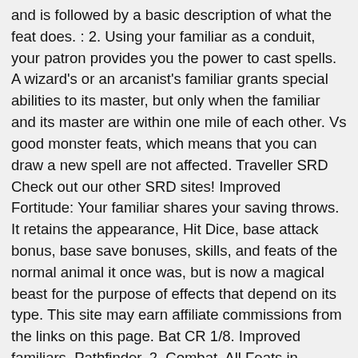and is followed by a basic description of what the feat does. : 2. Using your familiar as a conduit, your patron provides you the power to cast spells. A wizard's or an arcanist's familiar grants special abilities to its master, but only when the familiar and its master are within one mile of each other. Vs good monster feats, which means that you can draw a new spell are not affected. Traveller SRD Check out our other SRD sites! Improved Fortitude: Your familiar shares your saving throws. It retains the appearance, Hit Dice, base attack bonus, base save bonuses, skills, and feats of the normal animal it once was, but is now a magical beast for the purpose of effects that depend on its type. This site may earn affiliate commissions from the links on this page. Bat CR 1/8. Improved familiars, Pathfinder. 2. Combat. All Feats in Pathfinder: Kingmaker Which non-light weapons does Weapon Finesse apply to? You can cast spells using the Cast a Spell activity, and you can supply material, somatic, and verbal components when casting spells. 1: Races of Nature Unleashed (PF2) December 2, 2020 Aegis of Empires 5: Race for the Shattered City (PF1) October 21, 2020 Battle